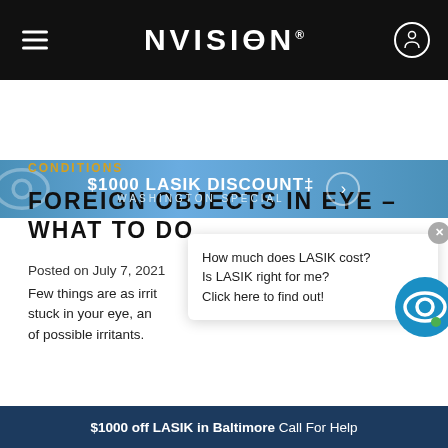NVISION
[Figure (infographic): $1000 LASIK DISCOUNT‡ WASHINGTON SPECIAL promotional banner with arrow button]
CONDITIONS
FOREIGN OBJECTS IN EYE – WHAT TO DO
Posted on July 7, 2021
Few things are as irrit… stuck in your eye, and of possible irritants.
[Figure (infographic): Chat popup: How much does LASIK cost? Is LASIK right for me? Click here to find out! with NVISION eye logo icon]
$1000 off LASIK in Baltimore  Call For Help